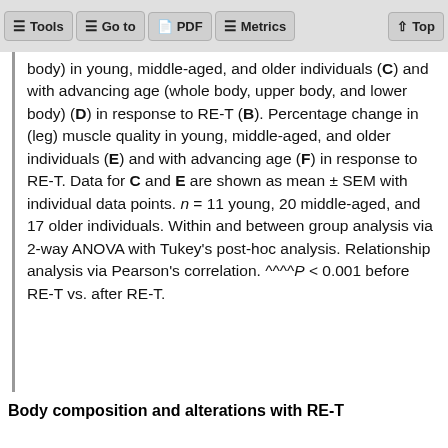Tools  Go to  PDF  Metrics  Top
body) in young, middle-aged, and older individuals (C) and with advancing age (whole body, upper body, and lower body) (D) in response to RE-T (B). Percentage change in (leg) muscle quality in young, middle-aged, and older individuals (E) and with advancing age (F) in response to RE-T. Data for C and E are shown as mean ± SEM with individual data points. n = 11 young, 20 middle-aged, and 17 older individuals. Within and between group analysis via 2-way ANOVA with Tukey's post-hoc analysis. Relationship analysis via Pearson's correlation. ^^^^P < 0.001 before RE-T vs. after RE-T.
Body composition and alterations with RE-T